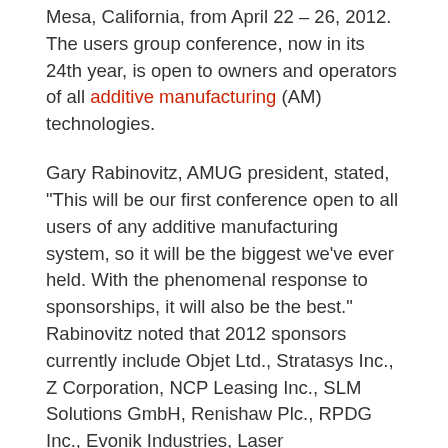Mesa, California, from April 22 – 26, 2012. The users group conference, now in its 24th year, is open to owners and operators of all additive manufacturing (AM) technologies.
Gary Rabinovitz, AMUG president, stated, "This will be our first conference open to all users of any additive manufacturing system, so it will be the biggest we've ever held. With the phenomenal response to sponsorships, it will also be the best." Rabinovitz noted that 2012 sponsors currently include Objet Ltd., Stratasys Inc., Z Corporation, NCP Leasing Inc., SLM Solutions GmbH, Renishaw Plc., RPDG Inc., Evonik Industries, Laser Reproductions and Materialise.
The AMUG Conference 2012 will include technical